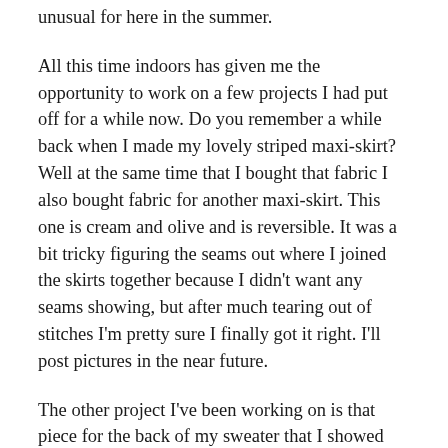unusual for here in the summer.
All this time indoors has given me the opportunity to work on a few projects I had put off for a while now. Do you remember a while back when I made my lovely striped maxi-skirt? Well at the same time that I bought that fabric I also bought fabric for another maxi-skirt. This one is cream and olive and is reversible. It was a bit tricky figuring the seams out where I joined the skirts together because I didn't want any seams showing, but after much tearing out of stitches I'm pretty sure I finally got it right. I'll post pictures in the near future.
The other project I've been working on is that piece for the back of my sweater that I showed you pictures of a while ago. In the pictures it's still in several pieces and all that needed doing was to put it together with an edging. I've done that and am now just finishing a few details to make it